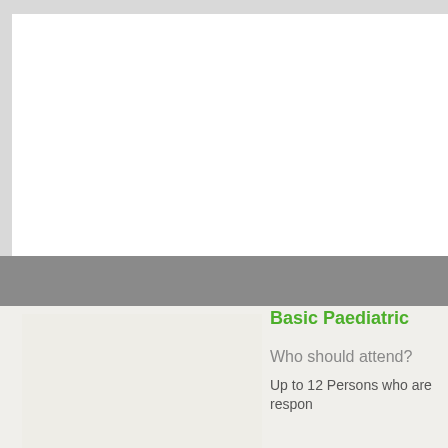Basic Paediatric
Who should attend?
Up to 12 Persons who are respon